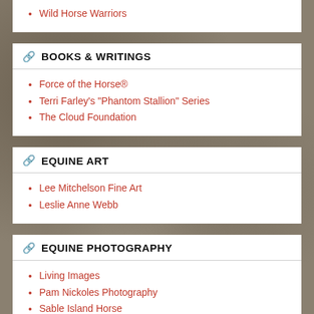Wild Horse Warriors
BOOKS & WRITINGS
Force of the Horse®
Terri Farley's "Phantom Stallion" Series
The Cloud Foundation
EQUINE ART
Lee Mitchelson Fine Art
Leslie Anne Webb
EQUINE PHOTOGRAPHY
Living Images
Pam Nickoles Photography
Sable Island Horse